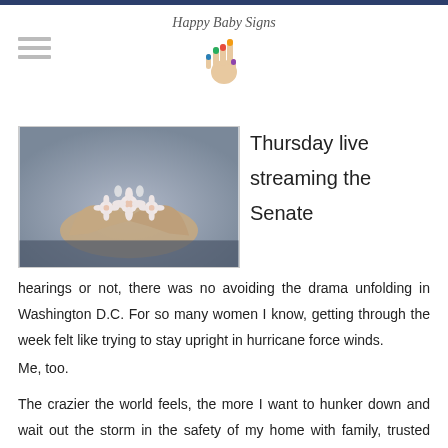Happy Baby Signs
[Figure (photo): Hands cupping white flowers, seen from below against a blurred background]
Thursday live streaming the Senate hearings or not, there was no avoiding the drama unfolding in Washington D.C. For so many women I know, getting through the week felt like trying to stay upright in hurricane force winds.
Me, too.
The crazier the world feels, the more I want to hunker down and wait out the storm in the safety of my home with family, trusted friends, and my beloved pets.